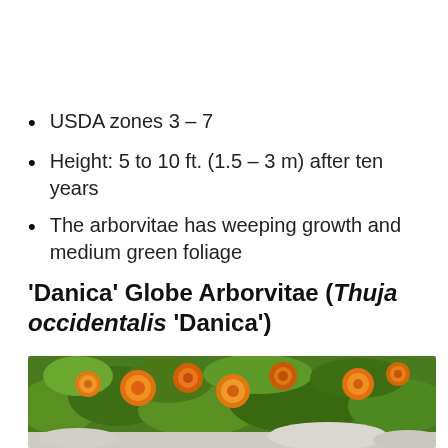USDA zones 3 – 7
Height: 5 to 10 ft. (1.5 – 3 m) after ten years
The arborvitae has weeping growth and medium green foliage
'Danica' Globe Arborvitae (Thuja occidentalis 'Danica')
[Figure (photo): Photo of orange marigold flowers among green foliage, with a light grey/white plant area visible at the bottom edge]